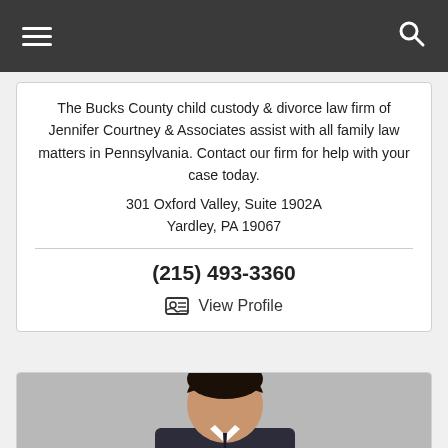Navigation bar with hamburger menu and search icon
The Bucks County child custody & divorce law firm of Jennifer Courtney & Associates assist with all family law matters in Pennsylvania. Contact our firm for help with your case today.
301 Oxford Valley, Suite 1902A
Yardley, PA 19067
(215) 493-3360
View Profile
[Figure (photo): Professional headshot of a man with dark hair wearing a suit, against a gray background]